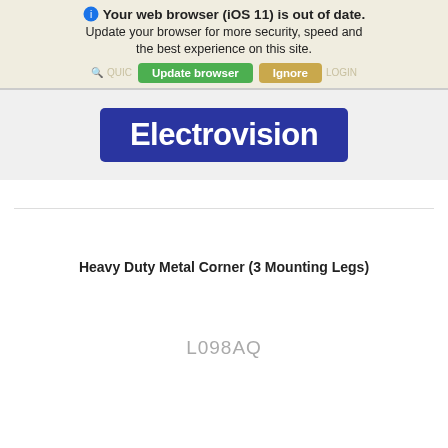Your web browser (iOS 11) is out of date. Update your browser for more security, speed and the best experience on this site.
[Figure (logo): Electrovision logo — white bold text on dark blue rounded rectangle background]
Heavy Duty Metal Corner (3 Mounting Legs)
L098AQ